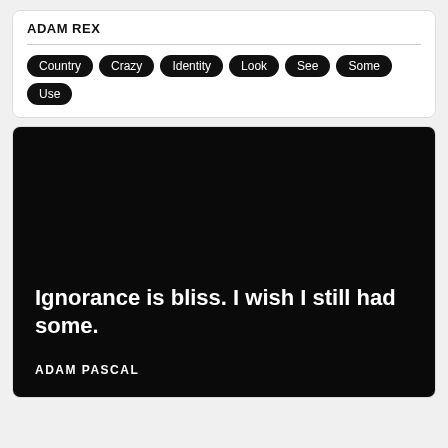ADAM REX
Country
Crazy
Identity
Look
See
Some
Use
[Figure (illustration): Black background quote card with white bold text reading 'Ignorance is bliss. I wish I still had some.' attributed to ADAM PASCAL]
Ignorance is bliss. I wish I still had some.
ADAM PASCAL